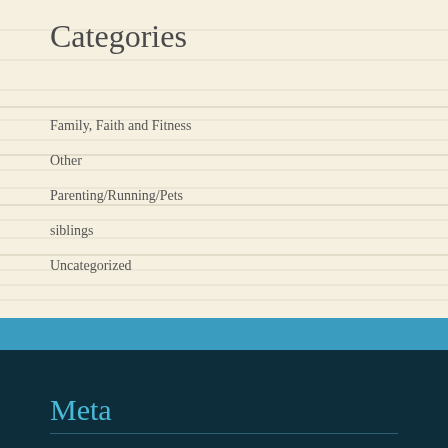Categories
Family, Faith and Fitness
Other
Parenting/Running/Pets
siblings
Uncategorized
Meta